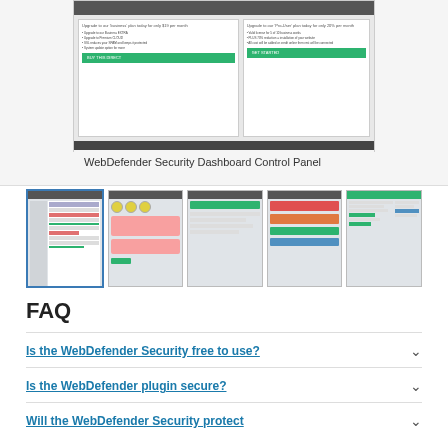[Figure (screenshot): WebDefender Security Dashboard Control Panel screenshot showing upgrade panels with green buttons and pricing information]
WebDefender Security Dashboard Control Panel
[Figure (screenshot): Five thumbnail screenshots of WebDefender Security plugin dashboard views showing various panels including security status, warnings in red/orange, green action buttons, and configuration screens]
FAQ
Is the WebDefender Security free to use?
Is the WebDefender plugin secure?
Will the WebDefender Security protect